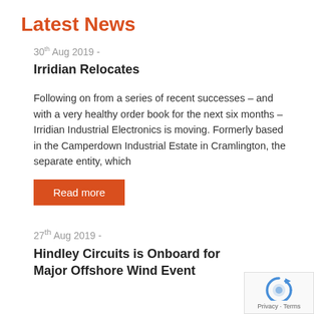Latest News
30th Aug 2019 -
Irridian Relocates
Following on from a series of recent successes – and with a very healthy order book for the next six months – Irridian Industrial Electronics is moving. Formerly based in the Camperdown Industrial Estate in Cramlington, the separate entity, which
Read more
27th Aug 2019 -
Hindley Circuits is Onboard for Major Offshore Wind Event